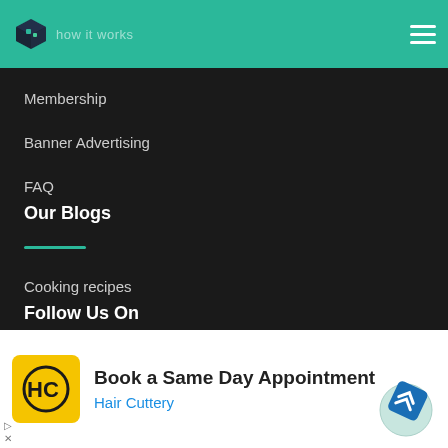how it works
Membership
Banner Advertising
FAQ
Our Blogs
Cooking recipes
Follow Us On
[Figure (screenshot): Social media icons: chevron/collapse button, Facebook, Twitter (bird), LinkedIn]
[Figure (screenshot): Advertisement banner for Hair Cuttery - Book a Same Day Appointment with HC logo and navigation arrow icon]